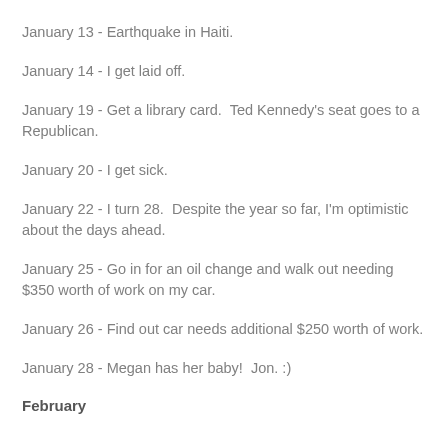January 13 - Earthquake in Haiti.
January 14 - I get laid off.
January 19 - Get a library card.  Ted Kennedy's seat goes to a Republican.
January 20 - I get sick.
January 22 - I turn 28.  Despite the year so far, I'm optimistic about the days ahead.
January 25 - Go in for an oil change and walk out needing $350 worth of work on my car.
January 26 - Find out car needs additional $250 worth of work.
January 28 - Megan has her baby!  Jon. :)
February